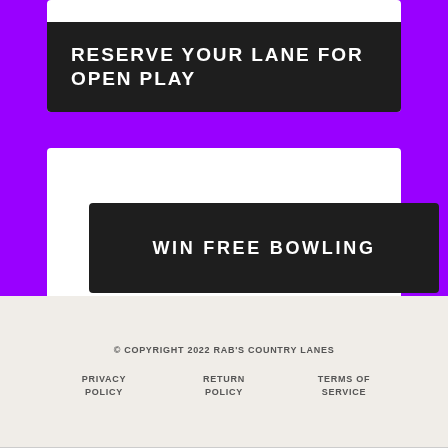RESERVE YOUR LANE FOR OPEN PLAY
WIN FREE BOWLING
© COPYRIGHT 2022 RAB'S COUNTRY LANES
PRIVACY POLICY
RETURN POLICY
TERMS OF SERVICE